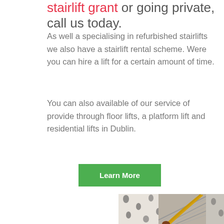stairlift grant or going private, call us today.
As well a specialising in refurbished stairlifts we also have a stairlift rental scheme. Were you can hire a lift for a certain amount of time.
You can also available of our service of provide through floor lifts, a platform lift and residential lifts in Dublin.
Learn More
[Figure (photo): Interior staircase with wallpaper featuring black floral pattern and wooden/golden stairlift rail running up the stairs]